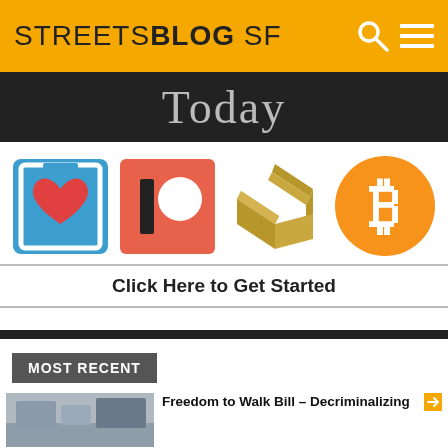STREETSBLOG SF
Today
[Figure (logo): Four donation/payment logos: Donate (blue box with heart), Patreon (coral square with I and circle), Stocksy (gold diamond S logo), Bitcoin (orange circle with B)]
Click Here to Get Started
MOST RECENT
Freedom to Walk Bill – Decriminalizing